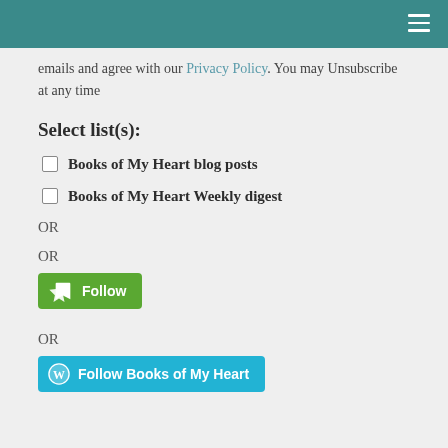emails and agree with our Privacy Policy. You may Unsubscribe at any time
Select list(s):
Books of My Heart blog posts
Books of My Heart Weekly digest
OR
OR
[Figure (other): Green Follow button with bookmark icon]
OR
[Figure (other): Blue WordPress Follow Books of My Heart button]